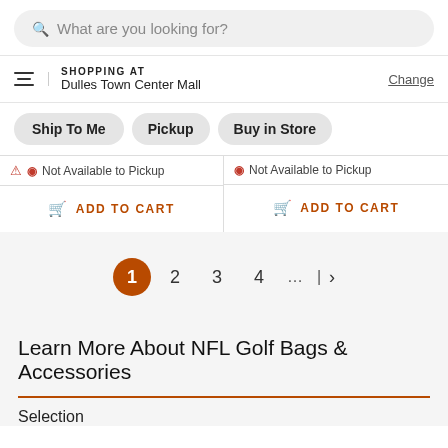What are you looking for?
SHOPPING AT
Dulles Town Center Mall
Change
Ship To Me
Pickup
Buy in Store
Not Available to Pickup
ADD TO CART
Not Available to Pickup
ADD TO CART
1 2 3 4 ... >
Learn More About NFL Golf Bags & Accessories
Selection